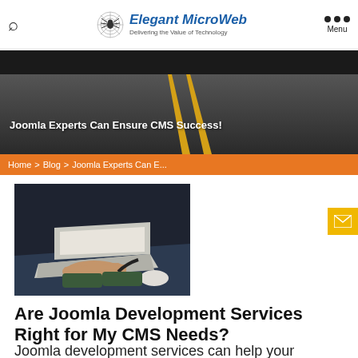Elegant MicroWeb — Delivering the Value of Technology
[Figure (photo): Road perspective photo with dark asphalt and yellow center lines, used as hero banner background]
Joomla Experts Can Ensure CMS Success!
Home > Blog > Joomla Experts Can E...
[Figure (photo): Person typing on a laptop computer, hands visible on keyboard, dark background setting]
Are Joomla Development Services Right for My CMS Needs?
Joomla development services can help your business